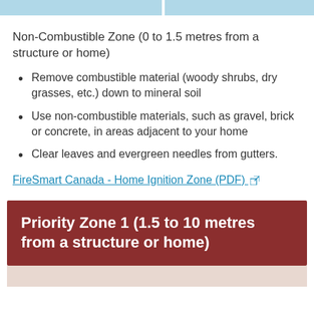Non-Combustible Zone (0 to 1.5 metres from a structure or home)
Remove combustible material (woody shrubs, dry grasses, etc.) down to mineral soil
Use non-combustible materials, such as gravel, brick or concrete, in areas adjacent to your home
Clear leaves and evergreen needles from gutters.
FireSmart Canada - Home Ignition Zone (PDF) [external link]
Priority Zone 1 (1.5 to 10 metres from a structure or home)